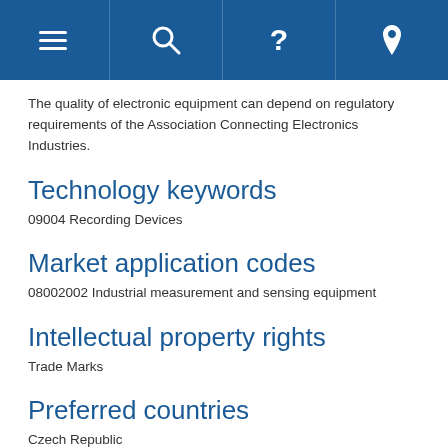Navigation bar with menu, search, help, and location icons
The quality of electronic equipment can depend on regulatory requirements of the Association Connecting Electronics Industries.
Technology keywords
09004 Recording Devices
Market application codes
08002002 Industrial measurement and sensing equipment
Intellectual property rights
Trade Marks
Preferred countries
Czech Republic